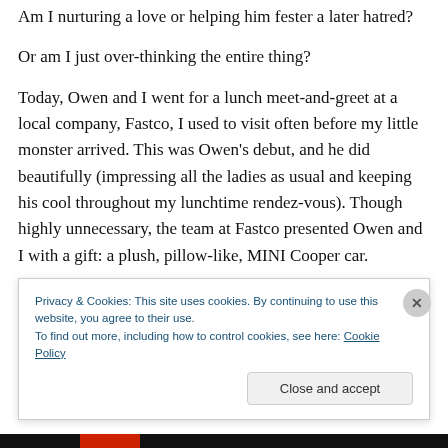Am I nurturing a love or helping him fester a later hatred?
Or am I just over-thinking the entire thing?
Today, Owen and I went for a lunch meet-and-greet at a local company, Fastco, I used to visit often before my little monster arrived. This was Owen’s debut, and he did beautifully (impressing all the ladies as usual and keeping his cool throughout my lunchtime rendez-vous). Though highly unnecessary, the team at Fastco presented Owen and I with a gift: a plush, pillow-like, MINI Cooper car.
I imm...
Privacy & Cookies: This site uses cookies. By continuing to use this website, you agree to their use.
To find out more, including how to control cookies, see here: Cookie Policy
Close and accept